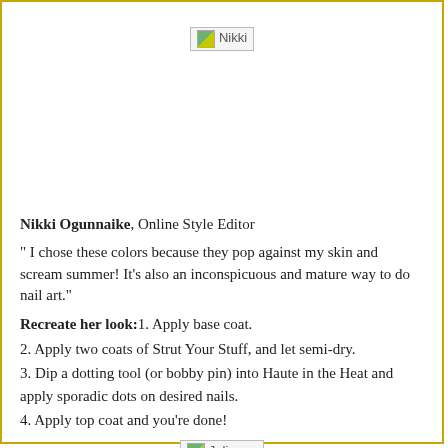[Figure (photo): Photo of Nikki (broken image placeholder)]
Nikki Ogunnaike, Online Style Editor
“ I chose these colors because they pop against my skin and scream summer! It’s also an inconspicuous and mature way to do nail art.”
Recreate her look: 1. Apply base coat.
2. Apply two coats of Strut Your Stuff, and let semi-dry.
3. Dip a dotting tool (or bobby pin) into Haute in the Heat and apply sporadic dots on desired nails.
4. Apply top coat and you’re done!
[Figure (photo): Photo of Julianne (broken image placeholder)]